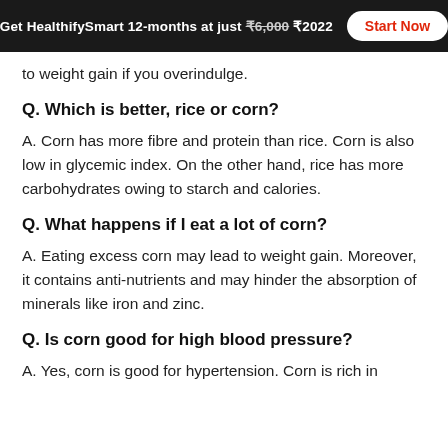Get HealthifySmart 12-months at just ₹6,000 ₹2022  Start Now
to weight gain if you overindulge.
Q. Which is better, rice or corn?
A. Corn has more fibre and protein than rice. Corn is also low in glycemic index. On the other hand, rice has more carbohydrates owing to starch and calories.
Q. What happens if I eat a lot of corn?
A. Eating excess corn may lead to weight gain. Moreover, it contains anti-nutrients and may hinder the absorption of minerals like iron and zinc.
Q. Is corn good for high blood pressure?
A. Yes, corn is good for hypertension. Corn is rich in